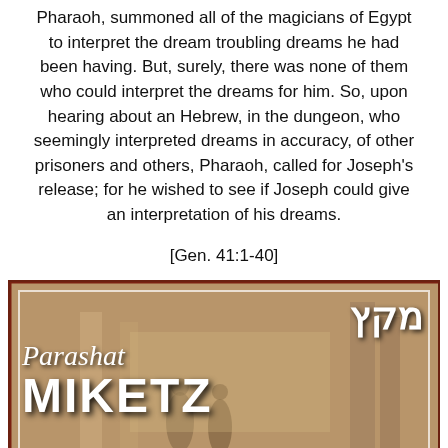Pharaoh, summoned all of the magicians of Egypt to interpret the dream troubling dreams he had been having. But, surely, there was none of them who could interpret the dreams for him. So, upon hearing about an Hebrew, in the dungeon, who seemingly interpreted dreams in accuracy, of other prisoners and others, Pharaoh, called for Joseph's release; for he wished to see if Joseph could give an interpretation of his dreams.
[Gen. 41:1-40]
[Figure (illustration): Parashat Miketz illustrated banner with white decorative script reading 'Parashat' over large bold white letters 'MIKETZ', with Hebrew text (מקץ) top right, set against an Egyptian scene background with figures, columns, and hieroglyphic imagery, framed by a rust/dark red border.]